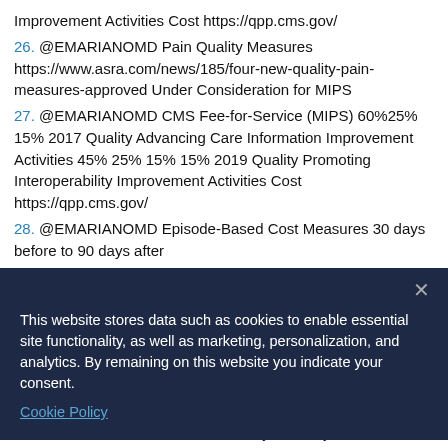Improvement Activities Cost https://qpp.cms.gov/
26. @EMARIANOMD Pain Quality Measures https://www.asra.com/news/185/four-new-quality-pain-measures-approved Under Consideration for MIPS
27. @EMARIANOMD CMS Fee-for-Service (MIPS) 60%25% 15% 2017 Quality Advancing Care Information Improvement Activities 45% 25% 15% 15% 2019 Quality Promoting Interoperability Improvement Activities Cost https://qpp.cms.gov/
28. @EMARIANOMD Episode-Based Cost Measures 30 days before to 90 days after
29. @EMARIANOMD Role of Acute Pain Service Hernandez-
[Figure (screenshot): Cookie consent banner overlay with dark navy background. Text: 'This website stores data such as cookies to enable essential site functionality, as well as marketing, personalization, and analytics. By remaining on this website you indicate your consent.' With a 'Cookie Policy' link and a close (X) button.]
32. @EMARIANOMD Death? ▪ 30-day mortality was lower for